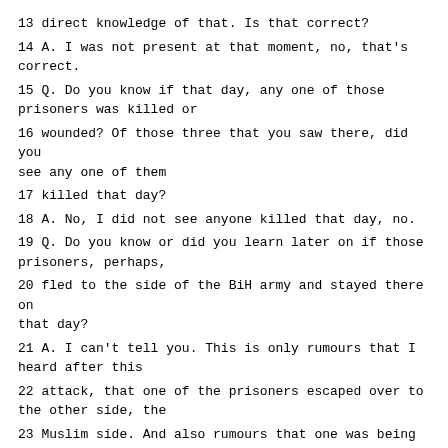13 direct knowledge of that. Is that correct?
14 A. I was not present at that moment, no, that's correct.
15 Q. Do you know if that day, any one of those prisoners was killed or
16 wounded? Of those three that you saw there, did you see any one of them
17 killed that day?
18 A. No, I did not see anyone killed that day, no.
19 Q. Do you know or did you learn later on if those prisoners, perhaps,
20 fled to the side of the BiH army and stayed there on that day?
21 A. I can't tell you. This is only rumours that I heard after this
22 attack, that one of the prisoners escaped over to the other side, the
23 Muslim side. And also rumours that one was being killed, and one was
24 still behind the Croatian lines. But as I said, it's